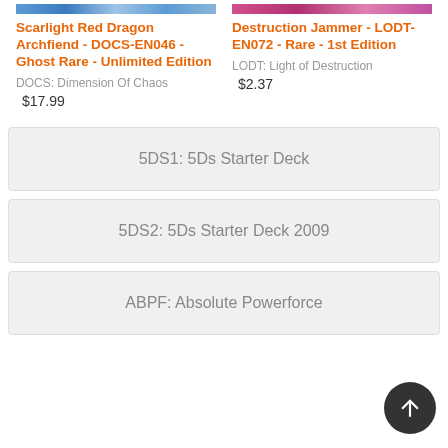[Figure (illustration): Top sliver of a Yu-Gi-Oh card image bar for Scarlight Red Dragon Archfiend, blue/silver gradient]
[Figure (illustration): Top sliver of a Yu-Gi-Oh card image bar for Destruction Jammer, pink/magenta gradient]
Scarlight Red Dragon Archfiend - DOCS-EN046 - Ghost Rare - Unlimited Edition
DOCS: Dimension Of Chaos
$17.99
Destruction Jammer - LODT-EN072 - Rare - 1st Edition
LODT: Light of Destruction
$2.37
5DS1: 5Ds Starter Deck
5DS2: 5Ds Starter Deck 2009
ABPF: Absolute Powerforce